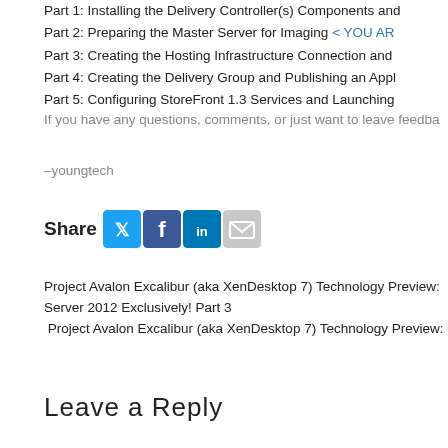Part 1: Installing the Delivery Controller(s) Components and
Part 2: Preparing the Master Server for Imaging < YOU AR
Part 3: Creating the Hosting Infrastructure Connection and
Part 4: Creating the Delivery Group and Publishing an Appl
Part 5: Configuring StoreFront 1.3 Services and Launching
If you have any questions, comments, or just want to leave feedba
–youngtech
[Figure (infographic): Share bar with Twitter, Facebook, LinkedIn, and Email icons]
Project Avalon Excalibur (aka XenDesktop 7) Technology Preview: Server 2012 Exclusively! Part 3
Project Avalon Excalibur (aka XenDesktop 7) Technology Preview:
Leave a Reply